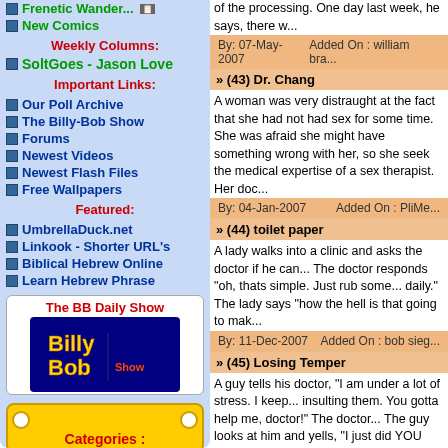Frenetic Wander...
New Comics
Weekly Columns:
SoltGoes - Jason Love
Important Links:
Our Poll Archive
The Billy-Bob Show
Forums
Newest Videos
Newest Flash Files
Free Wallpapers
Featured:
UmbrellaDuck.net
Linkook - Shorter URL's
Biblical Hebrew Online
Learn Hebrew Phrase
[Figure (logo): The BB Daily Show - Billy Bob Show logo in yellow and blue on dark background]
Categories :
of the processing. One day last week, he says, there w...
By: 07-May-2007    Added On : william bra...
» (43) Dr. Chang
A woman was very distraught at the fact that she had not had sex for some time. She was afraid she might have something wrong with her, so she seek the medical expertise of a sex therapist. Her doc...
By: 04-Jan-2007    Added On : PliMe...
» (44) toilet paper
A lady walks into a clinic and asks the doctor if he can... The doctor responds "oh, thats simple. Just rub some... daily." The lady says "how the hell is that going to mak...
By: 11-Dec-2007    Added On : bob sieg...
» (45) Losing Temper
A guy tells his doctor, "I am under a lot of stress. I keep... insulting them. You gotta help me, doctor!" The doctor... The guy looks at him and yells, "I just did YOU STUPII...
By: 12-Jul-2008    Added On : Mary...
» (46) Childbirth Pain
A woman goes to her doctor who verifies that she is pr... The doctor asks her if she has any questions. She rep... the pain. How much will childbirth hurt?" The doctor ar...
By: 12-Jul-2008    Added On : Sassy...
» (47) rank girl
Mary went to the doctor complaining of body odor. "Do... rank young girl. "Oh, yes," Mary answered. "Each mo... down as far as possible. Then I start at my feet and wa...
By: 12-Jul-2008    Added On : Dianne...
» (48) Feel Like a Curtain